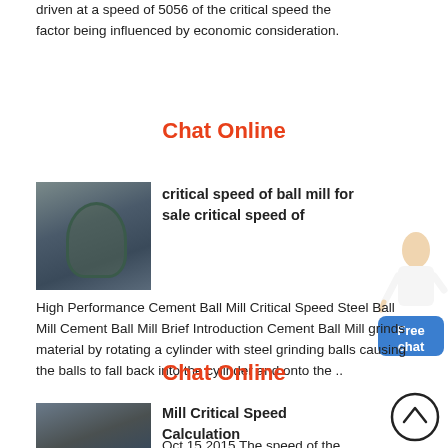driven at a speed of 5056 of the critical speed the factor being influenced by economic consideration.
Chat Online
[Figure (photo): Industrial ball mill machinery photo]
critical speed of ball mill for sale critical speed of
High Performance Cement Ball Mill Critical Speed Steel Ball Mill Cement Ball Mill Brief Introduction Cement Ball Mill grinds material by rotating a cylinder with steel grinding balls causing the balls to fall back into the cylinder and onto the ..
[Figure (other): Customer service agent with Free chat button overlay]
Chat Online
[Figure (photo): Industrial mill machinery photo]
Mill Critical Speed Calculation
Oct 15 2015  The speed of the mill ...